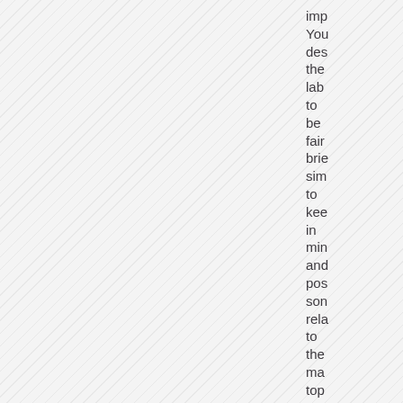[Figure (other): Diagonal striped pattern background covering the left portion of the page]
imp You des the lab to be fair brie sim to kee in min and pos son rela to the ma top of you wo